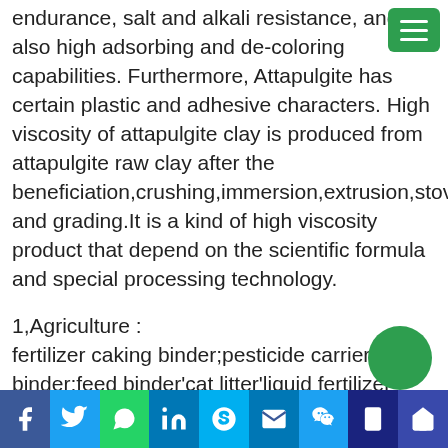endurance, salt and alkali resistance, and also high adsorbing and de-coloring capabilities. Furthermore, Attapulgite has certain plastic and adhesive characters. High viscosity of attapulgite clay is produced from attapulgite raw clay after the beneficiation,crushing,immersion,extrusion,stoving,grinding and grading.It is a kind of high viscosity product that depend on the scientific formula and special processing technology.
1,Agriculture :
fertilizer caking binder;pesticide carrier binder;feed binder'cat litter'liquid fertilizer suspending agent
2,Chemical industry
stuffing,ameliorant of rubber and plastics;with high viscosity of attapulgite clay instead of soda for tanning;decolorant and purificant for unedible grease;molecular sieve
Social media share bar: Facebook, Twitter, WhatsApp, LinkedIn, Skype, Email, WeChat, Mobile, Home